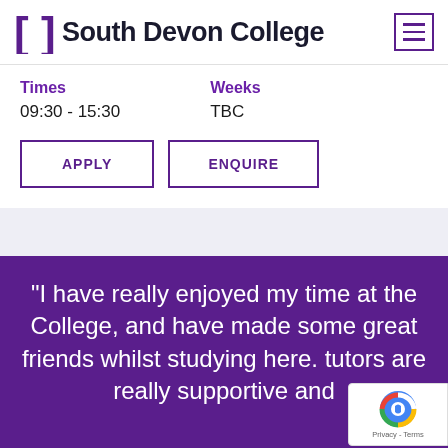South Devon College
Times
09:30 - 15:30
Weeks
TBC
APPLY
ENQUIRE
“I have really enjoyed my time at the College, and have made some great friends whilst studying here. tutors are really supportive and